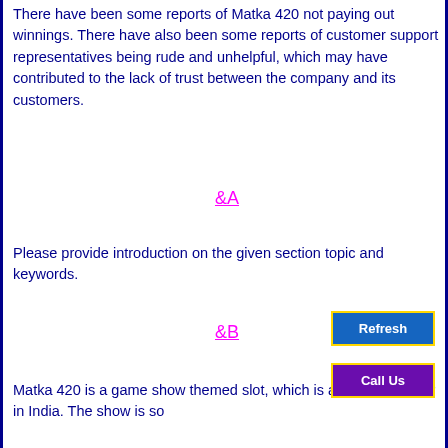There have been some reports of Matka 420 not paying out winnings. There have also been some reports of customer support representatives being rude and unhelpful, which may have contributed to the lack of trust between the company and its customers.
&A
Please provide introduction on the given section topic and keywords.
&B
Matka 420 is a game show themed slot, which is a hugely popular in India. The show is so
[Figure (other): Refresh button (blue background, yellow border) and Call Us button (purple background, yellow border) overlaid in lower right corner]